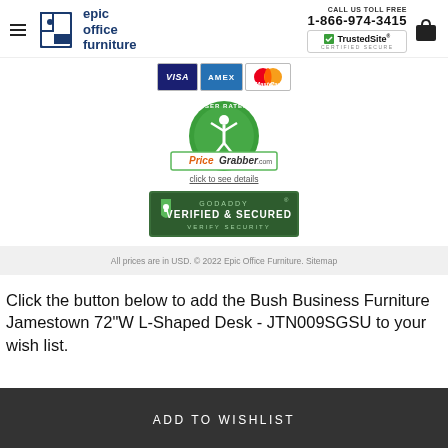Epic Office Furniture | CALL US TOLL FREE 1-866-974-3415 | TrustedSite CERTIFIED SECURE
[Figure (logo): Payment badges: VISA, AMEX, MasterCard]
[Figure (logo): PriceGrabber.com User Rated badge with 'click to see details' link]
[Figure (logo): GoDaddy Verified & Secured badge with 'VERIFY SECURITY' text]
All prices are in USD. © 2022 Epic Office Furniture. Sitemap
Click the button below to add the Bush Business Furniture Jamestown 72"W L-Shaped Desk - JTN009SGSU to your wish list.
ADD TO WISHLIST